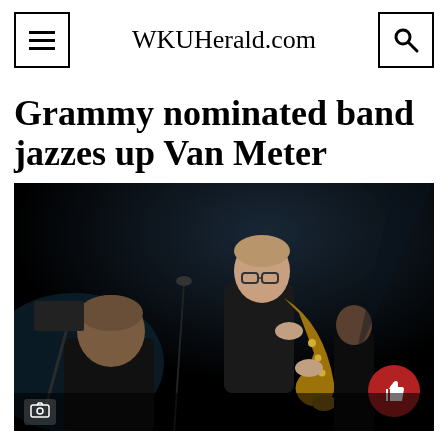WKUHerald.com
Grammy nominated band jazzes up Van Meter
[Figure (photo): A musician in a black shirt playing a saxophone on a dark stage, with other performers visible in the background. Concert/performance setting with blue stage lighting.]